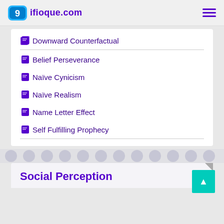9ifioque.com
Downward Counterfactual
Belief Perseverance
Naïve Cynicism
Naïve Realism
Name Letter Effect
Self Fulfilling Prophecy
Social Perception